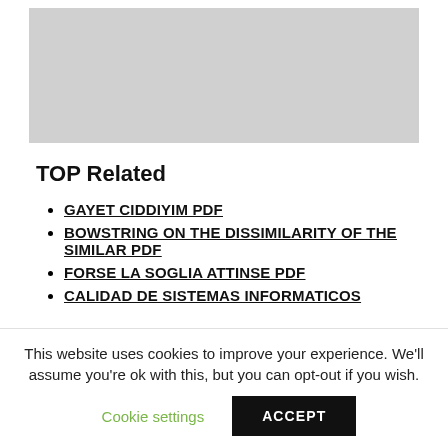[Figure (other): Gray placeholder image rectangle at top of page]
TOP Related
GAYET CIDDIYIM PDF
BOWSTRING ON THE DISSIMILARITY OF THE SIMILAR PDF
FORSE LA SOGLIA ATTINSE PDF
CALIDAD DE SISTEMAS INFORMATICOS
This website uses cookies to improve your experience. We'll assume you're ok with this, but you can opt-out if you wish.
Cookie settings  ACCEPT